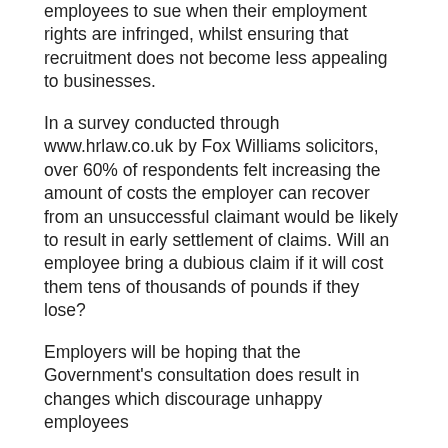employees to sue when their employment rights are infringed, whilst ensuring that recruitment does not become less appealing to businesses.
In a survey conducted through www.hrlaw.co.uk by Fox Williams solicitors, over 60% of respondents felt increasing the amount of costs the employer can recover from an unsuccessful claimant would be likely to result in early settlement of claims. Will an employee bring a dubious claim if it will cost them tens of thousands of pounds if they lose?
Employers will be hoping that the Government's consultation does result in changes which discourage unhappy employees
We use cookies on our website to give you the most relevant experience by remembering your preferences and repeat visits. By clicking “Accept”, you consent to the use of ALL the cookies.
Read More
Cookie settings
ACCEPT